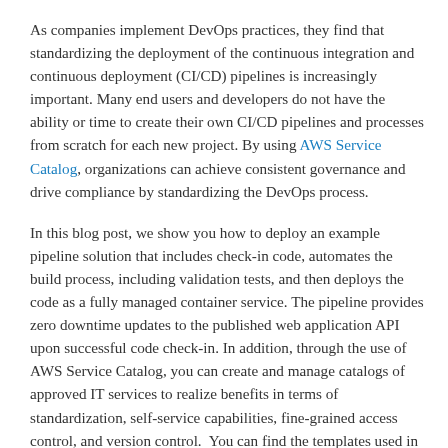As companies implement DevOps practices, they find that standardizing the deployment of the continuous integration and continuous deployment (CI/CD) pipelines is increasingly important. Many end users and developers do not have the ability or time to create their own CI/CD pipelines and processes from scratch for each new project. By using AWS Service Catalog, organizations can achieve consistent governance and drive compliance by standardizing the DevOps process.
In this blog post, we show you how to deploy an example pipeline solution that includes check-in code, automates the build process, including validation tests, and then deploys the code as a fully managed container service. The pipeline provides zero downtime updates to the published web application API upon successful code check-in. In addition, through the use of AWS Service Catalog, you can create and manage catalogs of approved IT services to realize benefits in terms of standardization, self-service capabilities, fine-grained access control, and version control.  You can find the templates used in this blog post in AWS Service Catalog reference architecture on GitHub.